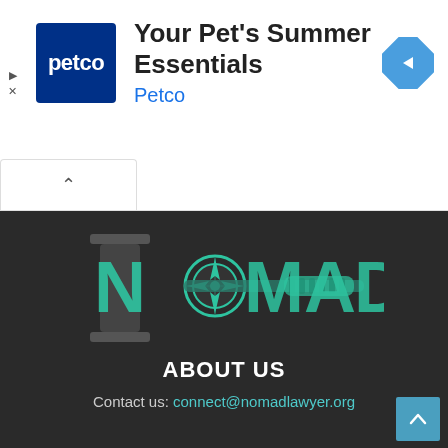[Figure (screenshot): Petco advertisement banner with Petco logo (blue square with white 'petco' text), heading 'Your Pet's Summer Essentials', brand name 'Petco' in blue, and a teal navigation/directions diamond icon on the right. Play and X controls visible on left side.]
[Figure (logo): NOMAD law firm logo on dark background - teal colored letters spelling NOMAD with compass rose replacing the O and a horizontal bar/gavel element across the letters]
ABOUT US
Contact us: connect@nomadlawyer.org